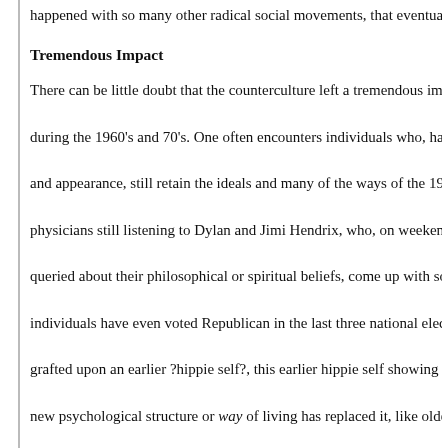happened with so many other radical social movements, that eventually c
Tremendous Impact
There can be little doubt that the counterculture left a tremendous impact during the 1960's and 70's. One often encounters individuals who, having and appearance, still retain the ideals and many of the ways of the 1960's physicians still listening to Dylan and Jimi Hendrix, who, on weekends, r queried about their philosophical or spiritual beliefs, come up with some individuals have even voted Republican in the last three national election grafted upon an earlier ?hippie self?, this earlier hippie self showing itsel new psychological structure or way of living has replaced it, like older bu
Of interest to us here, however, is the fact that it is precisely in their enga counterculture mentality can be found in so many Jews of the ?baby boo the ?after-school Hebrew School? generation has begun to have children, religious education, and come to reinvolve themselves in a Judaism whic establishment.? The result, in many instances, is an encounter, albeit 20 y I think that several, otherwise baffling phenomena can be explained thro thinking about the baal teshuvah movement, the social upheavals in non- religion. What is the answer to a falling rate of in all—a short